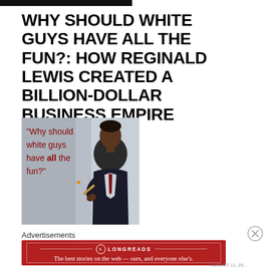WHY SHOULD WHITE GUYS HAVE ALL THE FUN?: HOW REGINALD LEWIS CREATED A BILLION-DOLLAR BUSINESS EMPIRE
[Figure (photo): Book cover of 'Why Should White Guys Have All the Fun?' showing quote text in dark red on the left and a man in a suit holding a cigar on the right]
Advertisements
[Figure (infographic): Longreads advertisement banner in red: 'The best stories on the web — ours, and everyone else's.']
AUGUST 11, 20...